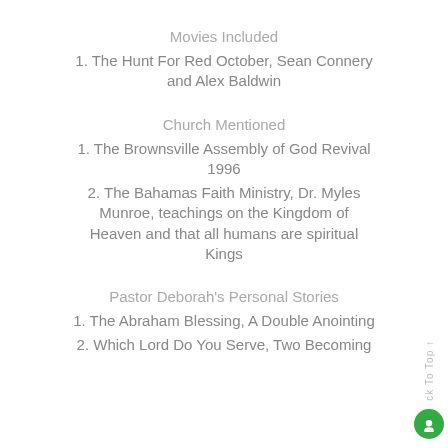Movies Included
1. The Hunt For Red October, Sean Connery and Alex Baldwin
Church Mentioned
1. The Brownsville Assembly of God Revival 1996
2. The Bahamas Faith Ministry, Dr. Myles Munroe, teachings on the Kingdom of Heaven and that all humans are spiritual Kings
Pastor Deborah's Personal Stories
1. The Abraham Blessing, A Double Anointing
2. Which Lord Do You Serve, Two Becoming